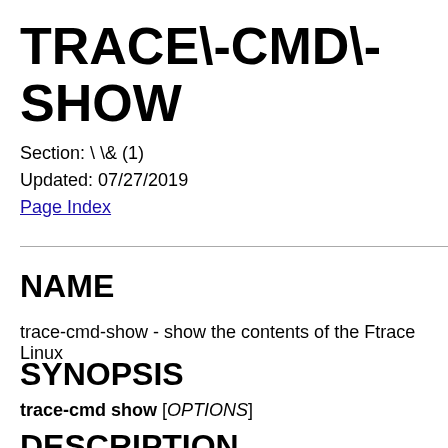TRACE\-CMD\-SHOW
Section: \ \& (1)
Updated: 07/27/2019
Page Index
NAME
trace-cmd-show - show the contents of the Ftrace Linux
SYNOPSIS
trace-cmd show [OPTIONS]
DESCRIPTION